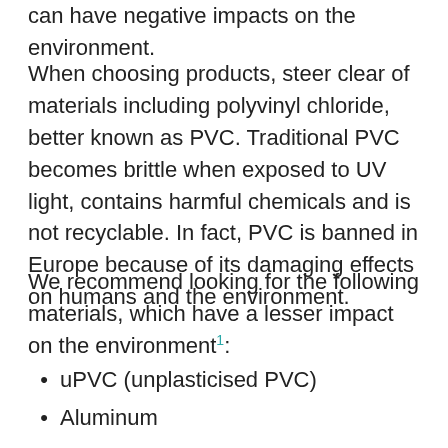can have negative impacts on the environment.
When choosing products, steer clear of materials including polyvinyl chloride, better known as PVC. Traditional PVC becomes brittle when exposed to UV light, contains harmful chemicals and is not recyclable. In fact, PVC is banned in Europe because of its damaging effects on humans and the environment.
We recommend looking for the following materials, which have a lesser impact on the environment¹:
uPVC (unplasticised PVC)
Aluminum
Copper
Galvanized steel
Titanium zinc